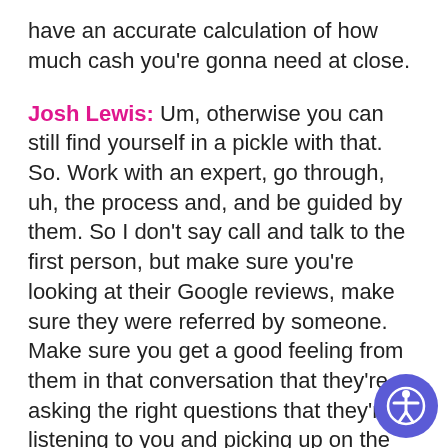have an accurate calculation of how much cash you're gonna need at close.
Josh Lewis: Um, otherwise you can still find yourself in a pickle with that. So. Work with an expert, go through, uh, the process and, and be guided by them. So I don't say call and talk to the first person, but make sure you're looking at their Google reviews, make sure they were referred by someone. Make sure you get a good feeling from them in that conversation that they're asking the right questions that they're listening to you and picking up on the things
[Figure (other): Accessibility button (purple circle with person/accessibility icon)]